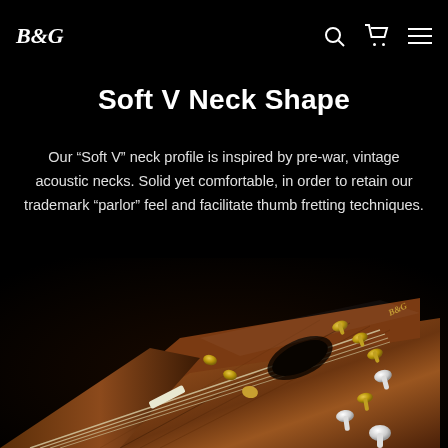B&G [logo with search, cart, menu icons]
Soft V Neck Shape
Our “Soft V” neck profile is inspired by pre-war, vintage acoustic necks. Solid yet comfortable, in order to retain our trademark “parlor” feel and facilitate thumb fretting techniques.
[Figure (photo): Close-up photograph of a guitar headstock with rosewood finish, gold tuning machines, strings, and a B&G logo inlay, on a dark background.]